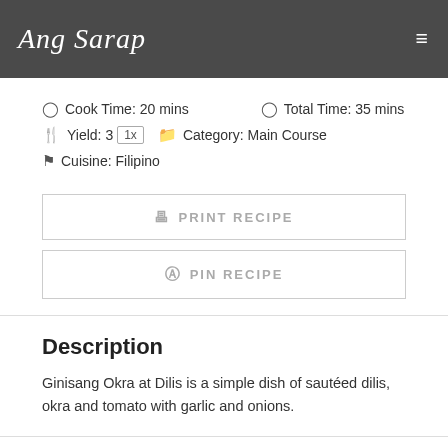Ang Sarap
Cook Time: 20 mins   Total Time: 35 mins
Yield: 3  1x   Category: Main Course
Cuisine: Filipino
PRINT RECIPE
PIN RECIPE
Description
Ginisang Okra at Dilis is a simple dish of sautéed dilis, okra and tomato with garlic and onions.
Ingredients
SCALE  1x  2x  3x